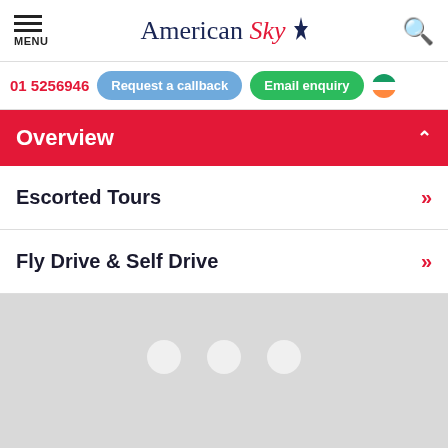American Sky — MENU navigation header with search icon
01 5256946 | Request a callback | Email enquiry
Overview
Escorted Tours
Fly Drive & Self Drive
[Figure (other): Loading placeholder area with three light circular dots on a grey background]